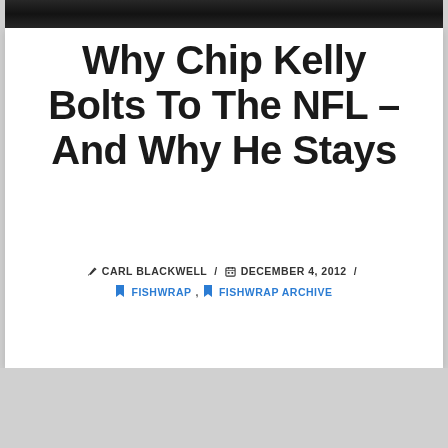[Figure (photo): Dark photo strip at top of page showing stadium or outdoor scene]
Why Chip Kelly Bolts To The NFL – And Why He Stays
✏ CARL BLACKWELL / 📅 DECEMBER 4, 2012 /
🔖 FISHWRAP, 🔖 FISHWRAP ARCHIVE